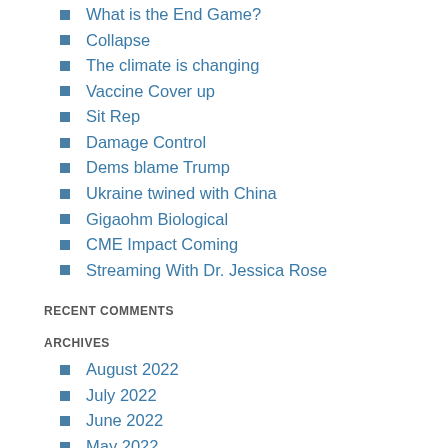What is the End Game?
Collapse
The climate is changing
Vaccine Cover up
Sit Rep
Damage Control
Dems blame Trump
Ukraine twined with China
Gigaohm Biological
CME Impact Coming
Streaming With Dr. Jessica Rose
RECENT COMMENTS
ARCHIVES
August 2022
July 2022
June 2022
May 2022
April 2022
March 2022
February 2022